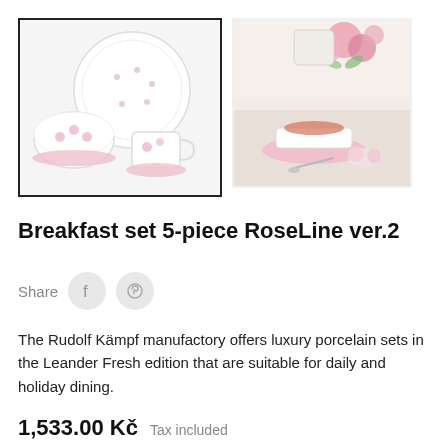[Figure (photo): Main product photo: white porcelain breakfast set with pink floral RoseLine pattern — bowl, cup with saucer, and plate on white background, inside a black-bordered box.]
[Figure (photo): Secondary lifestyle photo: pink roses, porcelain teacup with pink pattern and saucer, sweet treats on a white table setting.]
Breakfast set 5-piece RoseLine ver.2
Share
The Rudolf Kämpf manufactory offers luxury porcelain sets in the Leander Fresh edition that are suitable for daily and holiday dining.
1,533.00 Kč  Tax included